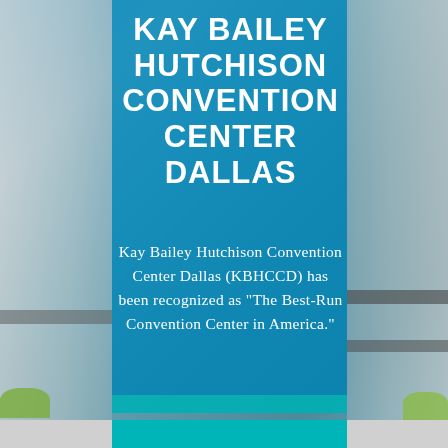[Figure (photo): Exterior photo of Kay Bailey Hutchison Convention Center Dallas with blue sky, modern building facade, and a tall blue signage column in the foreground with the center's name.]
KAY BAILEY HUTCHISON CONVENTION CENTER DALLAS
Kay Bailey Hutchison Convention Center Dallas (KBHCCD) has been recognized as "The Best-Run Convention Center in America."